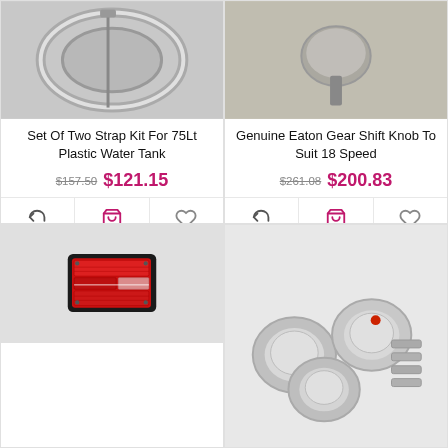[Figure (photo): Set of two strap kit for 75Lt plastic water tank - product photo showing metallic strap/ring from above]
Set Of Two Strap Kit For 75Lt Plastic Water Tank
$157.50  $121.15
[Figure (photo): Genuine Eaton Gear Shift Knob to Suit 18 Speed - product photo showing knob from above]
Genuine Eaton Gear Shift Knob To Suit 18 Speed
$261.08  $200.83
[Figure (photo): Red rectangular tail light / lamp assembly]
[Figure (photo): Chrome hub caps set with bolts/nuts accessories]